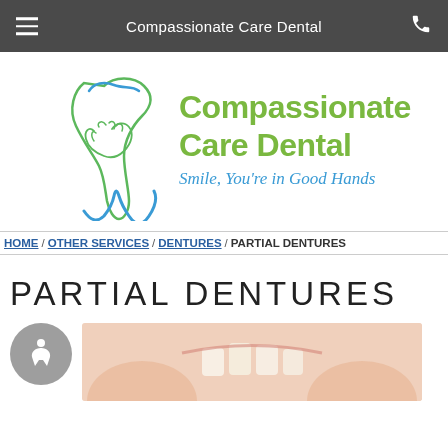Compassionate Care Dental
[Figure (logo): Compassionate Care Dental logo with tooth and hands graphic. Text reads: Compassionate Care Dental, Smile, You're in Good Hands]
HOME / OTHER SERVICES / DENTURES / PARTIAL DENTURES
PARTIAL DENTURES
[Figure (photo): Photo of partial dentures dental prosthetics being held by hands]